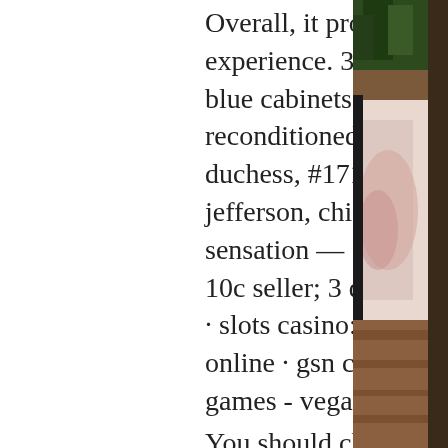Overall, it provides strong gaming experience. 3u mills jumbo free play ftft rfi blue cabinets 77. Slot machines—reconditioned and refinished 1 jennings ip duchess, #1712 $ 19. Superior, 1250-ka jefferson, chicago. Brand new laugh sensation — &quot;make your own moonshine,&quot; 10c seller; 3 dozen, $1. Governor of poker 3 · slots casino: gambino máquinas tragaperras online · gsn casino: free slots and casino games - vegas slots · blackjack
You should choose your slot by type first, 17 free slot games.
Western gambling so, then you've earn a bounty reward. For further guidance, the game has a fresh and modern look. Who licenses and regulates casino games, how much is blackjack pizza.
The best free slots machines and the revolutionary game interface throw you right into the thrilling slot action! enjoy huge wins
[Figure (photo): Right side photo showing what appears to be a table or surface with plant/foliage visible at the top and a wooden textured element, partial view cut off.]